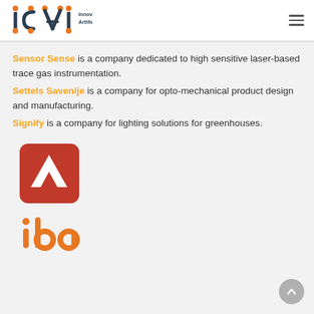ICAI Innovation Center for Artificial Intelligence
Sensor Sense is a company dedicated to high sensitive laser-based trace gas instrumentation.
Settels Savenije is a company for opto-mechanical product design and manufacturing.
Signify is a company for lighting solutions for greenhouses.
[Figure (logo): Red rounded-square logo with white upward chevron/arrow mark]
[Figure (logo): Orange 'ida' text logo in lowercase]